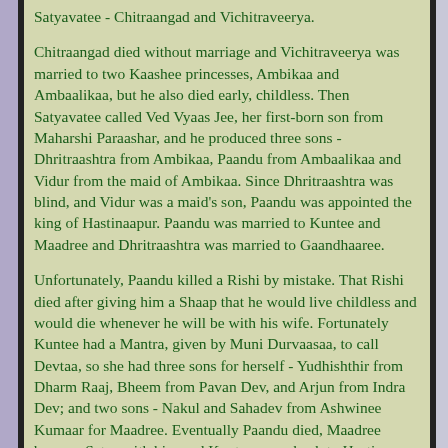Satyavatee - Chitraangad and Vichitraveerya.
Chitraangad died without marriage and Vichitraveerya was married to two Kaashee princesses, Ambikaa and Ambaalikaa, but he also died early, childless. Then Satyavatee called Ved Vyaas Jee, her first-born son from Maharshi Paraashar, and he produced three sons - Dhritraashtra from Ambikaa, Paandu from Ambaalikaa and Vidur from the maid of Ambikaa. Since Dhritraashtra was blind, and Vidur was a maid's son, Paandu was appointed the king of Hastinaapur. Paandu was married to Kuntee and Maadree and Dhritraashtra was married to Gaandhaaree.
Unfortunately, Paandu killed a Rishi by mistake. That Rishi died after giving him a Shaap that he would live childless and would die whenever he will be with his wife. Fortunately Kuntee had a Mantra, given by Muni Durvaasaa, to call Devtaa, so she had three sons for herself - Yudhishthir from Dharm Raaj, Bheem from Pavan Dev, and Arjun from Indra Dev; and two sons - Nakul and Sahadev from Ashwinee Kumaar for Maadree. Eventually Paandu died, Maadree became Satee with him and Kuntee came back to Hastinaapur with her five sons.
Gaandhaaree had 100 sons and one daughter, Duryodhan...